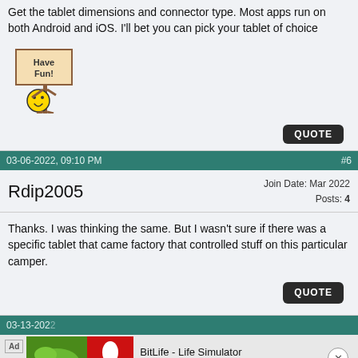Get the tablet dimensions and connector type. Most apps run on both Android and iOS. I'll bet you can pick your tablet of choice
[Figure (illustration): Pixel art smiley face holding a sign that says 'Have Fun!']
QUOTE
03-06-2022, 09:10 PM   #6
Rdip2005   Join Date: Mar 2022  Posts: 4
Thanks. I was thinking the same. But I wasn't sure if there was a specific tablet that came factory that controlled stuff on this particular camper.
QUOTE
03-13-2022   Ad  BitLife - Life Simulator  Install!  NavyL...  Jan 2020  17